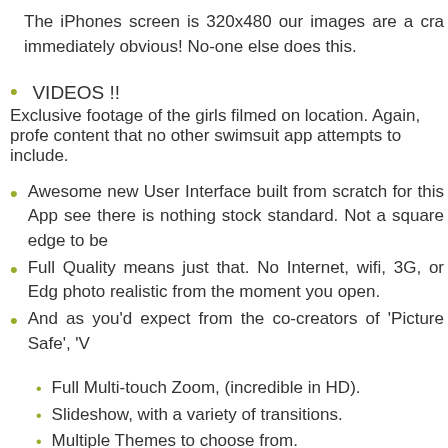The iPhones screen is 320x480 our images are a cra immediately obvious! No-one else does this.
VIDEOS !!
Exclusive footage of the girls filmed on location. Again, profe content that no other swimsuit app attempts to include.
Awesome new User Interface built from scratch for this App see there is nothing stock standard. Not a square edge to be
Full Quality means just that. No Internet, wifi, 3G, or Edg photo realistic from the moment you open.
And as you'd expect from the co-creators of 'Picture Safe', 'V
Full Multi-touch Zoom, (incredible in HD).
Slideshow, with a variety of transitions.
Multiple Themes to choose from.
Ability to create a folder of Favorites.